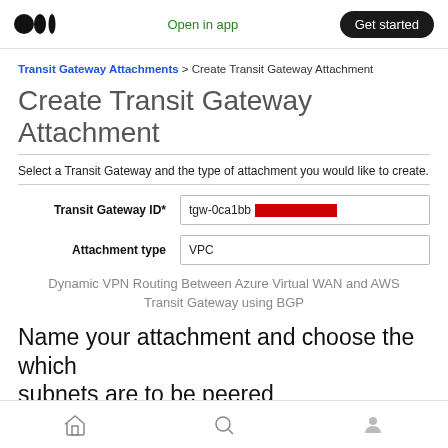Medium — Open in app | Get started
Transit Gateway Attachments > Create Transit Gateway Attachment
Create Transit Gateway Attachment
Select a Transit Gateway and the type of attachment you would like to create.
Transit Gateway ID*: tgw-0ca1bb [redacted]
Attachment type: VPC
Dynamic VPN Routing Between Azure Virtual WAN and AWS Transit Gateway using BGP
Name your attachment and choose the which subnets are to be peered
Home | Search | Profile